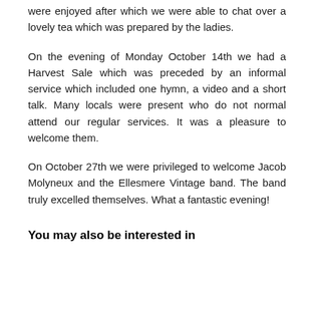were enjoyed after which we were able to chat over a lovely tea which was prepared by the ladies.
On the evening of Monday October 14th we had a Harvest Sale which was preceded by an informal service which included one hymn, a video and a short talk. Many locals were present who do not normal attend our regular services. It was a pleasure to welcome them.
On October 27th we were privileged to welcome Jacob Molyneux and the Ellesmere Vintage band. The band truly excelled themselves. What a fantastic evening!
You may also be interested in